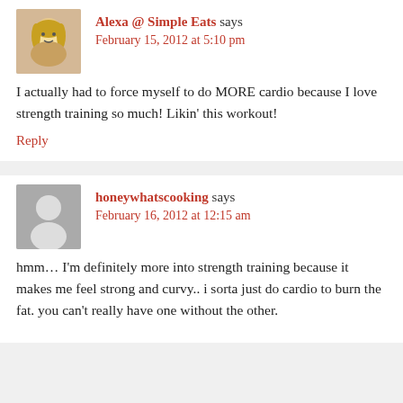Alexa @ Simple Eats says February 15, 2012 at 5:10 pm
I actually had to force myself to do MORE cardio because I love strength training so much! Likin' this workout!
Reply
honeywhatscooking says February 16, 2012 at 12:15 am
hmm… I'm definitely more into strength training because it makes me feel strong and curvy.. i sorta just do cardio to burn the fat. you can't really have one without the other.